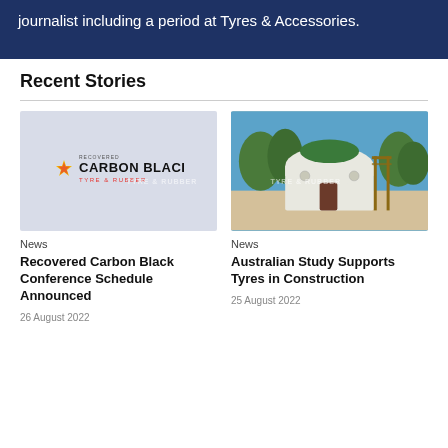journalist including a period at Tyres & Accessories.
Recent Stories
[Figure (photo): Recovered Carbon Black logo with star graphic on light grey background, with 'TYRE & RUBBER' watermark overlay]
News
Recovered Carbon Black Conference Schedule Announced
26 August 2022
[Figure (photo): Photo of a white arch-shaped building with green roof in an outdoor setting, with 'TYRE & RUBBER' watermark overlay]
News
Australian Study Supports Tyres in Construction
25 August 2022